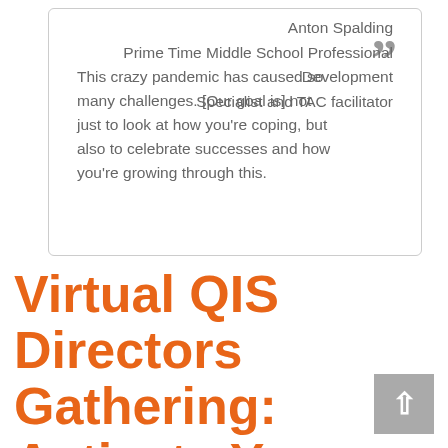This crazy pandemic has caused so many challenges. [Our goal is] not just to look at how you're coping, but also to celebrate successes and how you're growing through this.
Anton Spalding
Prime Time Middle School Professional Development Specialist and TAC facilitator
Virtual QIS Directors Gathering: Activate Your